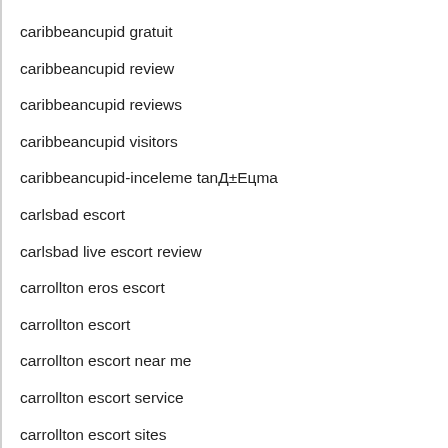caribbeancupid gratuit
caribbeancupid review
caribbeancupid reviews
caribbeancupid visitors
caribbeancupid-inceleme tanД±Eцma
carlsbad escort
carlsbad live escort review
carrollton eros escort
carrollton escort
carrollton escort near me
carrollton escort service
carrollton escort sites